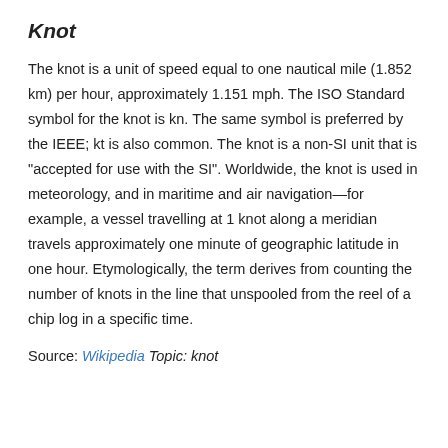Knot
The knot is a unit of speed equal to one nautical mile (1.852 km) per hour, approximately 1.151 mph. The ISO Standard symbol for the knot is kn. The same symbol is preferred by the IEEE; kt is also common. The knot is a non-SI unit that is "accepted for use with the SI". Worldwide, the knot is used in meteorology, and in maritime and air navigation—for example, a vessel travelling at 1 knot along a meridian travels approximately one minute of geographic latitude in one hour. Etymologically, the term derives from counting the number of knots in the line that unspooled from the reel of a chip log in a specific time.
Source: Wikipedia Topic: knot